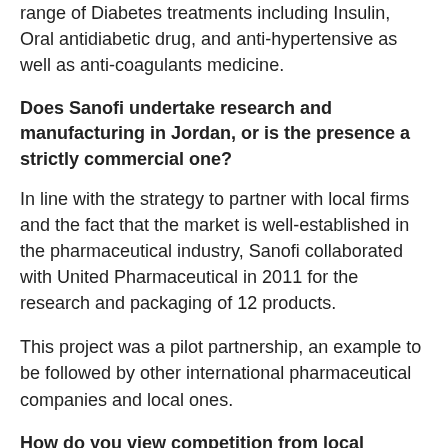range of Diabetes treatments including Insulin, Oral antidiabetic drug, and anti-hypertensive as well as anti-coagulants medicine.
Does Sanofi undertake research and manufacturing in Jordan, or is the presence a strictly commercial one?
In line with the strategy to partner with local firms and the fact that the market is well-established in the pharmaceutical industry, Sanofi collaborated with United Pharmaceutical in 2011 for the research and packaging of 12 products.
This project was a pilot partnership, an example to be followed by other international pharmaceutical companies and local ones.
How do you view competition from local